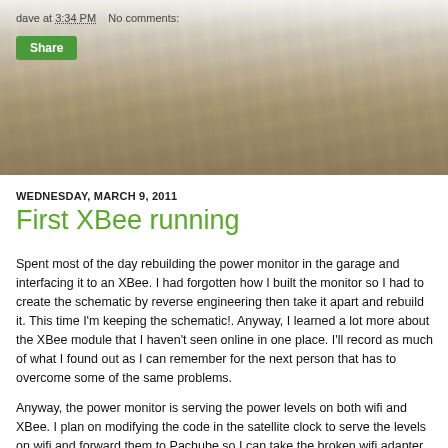dave at 3:34 PM   No comments:
Share
WEDNESDAY, MARCH 9, 2011
First XBee running
Spent most of the day rebuilding the power monitor in the garage and interfacing it to an XBee.  I had forgotten how I built the monitor so I had to create the schematic by reverse engineering then take it apart and rebuild it.  This time I'm keeping the schematic!.  Anyway, I learned a lot more about the XBee module that I haven't seen online in one place.  I'll record as much of what I found out as I can remember for the next person that has to overcome some of the same problems.
Anyway, the power monitor is serving the power levels on both wifi and XBee.  I plan on modifying the code in the satellite clock to serve the levels on wifi and forward them to Pachube so I can take the broken wifi adapter out of the